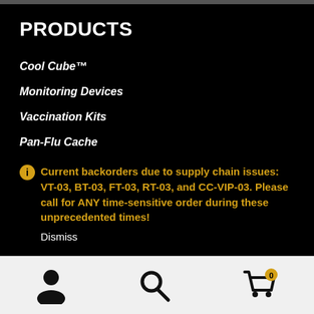PRODUCTS
Cool Cube™
Monitoring Devices
Vaccination Kits
Pan-Flu Cache
Current backorders due to supply chain issues: VT-03, BT-03, FT-03, RT-03, and CC-VIP-03. Please call for ANY time-sensitive order during these unprecedented times!
Dismiss